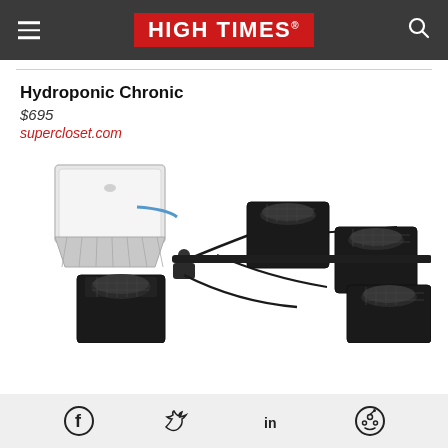HIGH TIMES
Hydroponic Chronic
$695
supercloset.com
[Figure (photo): Hydroponic growing system with multiple black square buckets/net pots connected by tubing to a white reservoir container, viewed from an angle on white background.]
Social share icons: Facebook, Twitter, LinkedIn, Reddit